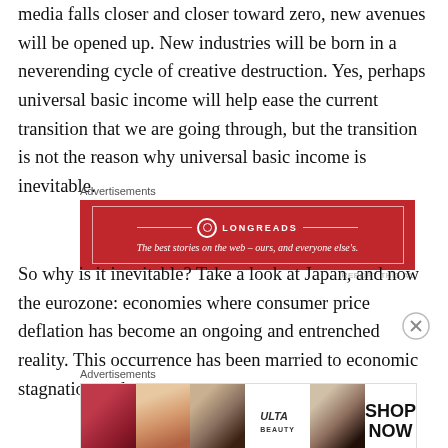media falls closer and closer toward zero, new avenues will be opened up. New industries will be born in a neverending cycle of creative destruction. Yes, perhaps universal basic income will help ease the current transition that we are going through, but the transition is not the reason why universal basic income is inevitable.
[Figure (other): Longreads advertisement banner with red background. Text reads: LONGREADS — The best stories on the web – ours, and everyone else's.]
So why is it inevitable? Take a look at Japan, and now the eurozone: economies where consumer price deflation has become an ongoing and entrenched reality. This occurrence has been married to economic stagnation and
[Figure (other): Ulta Beauty advertisement banner showing beauty product images with text SHOP NOW.]